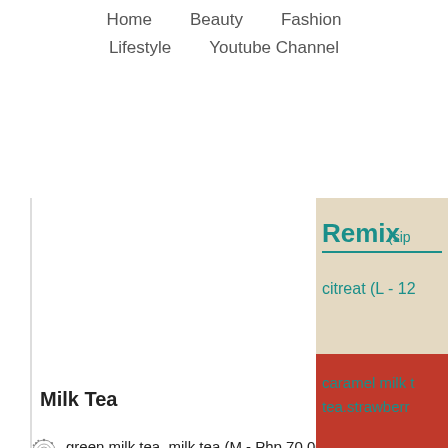Home   Beauty   Fashion   Lifestyle   Youtube Channel
[Figure (photo): Photo of a drink menu card showing 'Remix (sip ...' and 'citreat (L - 12...' text in teal on beige background]
Milk Tea
green milk tea, milk tea (M - Php 70.00, L -
caramel milk tea, chocolate milk tea, mango 90.00, L - Php 100.00)
[Figure (photo): Photo of a drink menu card showing 'caramel milk t... tea.strawberr...' text in teal on red/orange background]